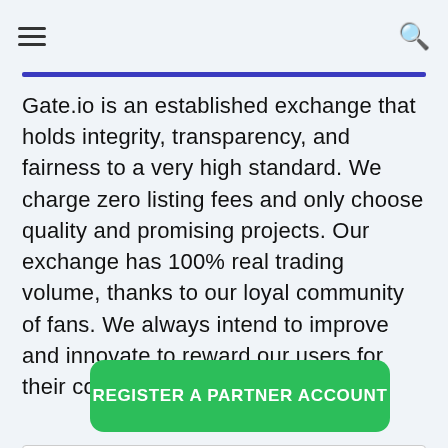Gate.io is an established exchange that holds integrity, transparency, and fairness to a very high standard. We charge zero listing fees and only choose quality and promising projects. Our exchange has 100% real trading volume, thanks to our loyal community of fans. We always intend to improve and innovate to reward our users for their continuous support.
REGISTER A PARTNER ACCOUNT
Contents [ Hide ]